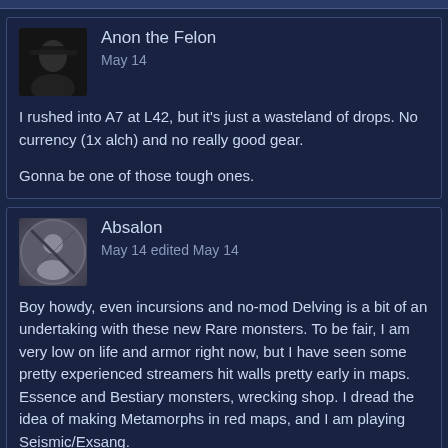Anon the Felon
May 14

I rushed into A7 at L42, but it's just a wasteland of drops. No currency (1x alch) and no really good gear.

Gonna be one of those tough ones.
Absalon
May 14 edited May 14

Boy howdy, even incursions and no-mod Delving is a bit of an undertaking with these new Rare monsters. To be fair, I am very low on life and armor right now, but I have seen some pretty experienced streamers hit walls pretty early in maps. Essence and Bestiary monsters, wrecking shop. I dread the idea of making Metamorphs in red maps, and I am playing Seismic/Exsang.

Post edited by Absalon on May 14